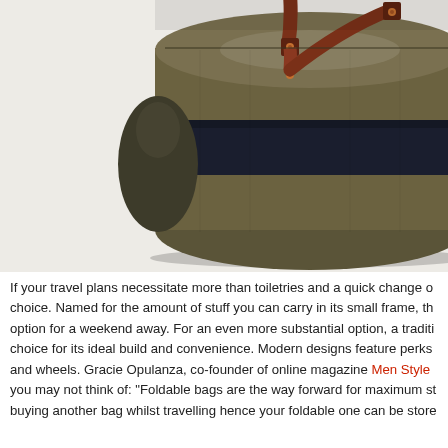[Figure (photo): A cylindrical olive/khaki canvas duffel bag with brown leather handles and a dark navy band around the middle, photographed against a light grey/white background.]
If your travel plans necessitate more than toiletries and a quick change o... choice. Named for the amount of stuff you can carry in its small frame, th... option for a weekend away. For an even more substantial option, a traditi... choice for its ideal build and convenience. Modern designs feature perks ... and wheels. Gracie Opulanza, co-founder of online magazine Men Style ... you may not think of: "Foldable bags are the way forward for maximum st... buying another bag whilst travelling hence your foldable one can be store...